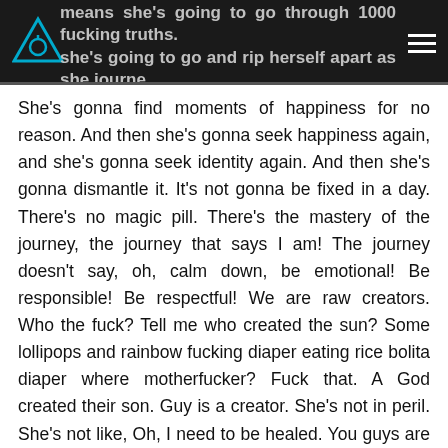means she's going to go through 1000 fucking truths. she's going to go and rip herself apart as she journey...
She's gonna find moments of happiness for no reason. And then she's gonna seek happiness again, and she's gonna seek identity again. And then she's gonna dismantle it. It's not gonna be fixed in a day. There's no magic pill. There's the mastery of the journey, the journey that says I am! The journey doesn't say, oh, calm down, be emotional! Be responsible! Be respectful! We are raw creators. Who the fuck? Tell me who created the sun? Some lollipops and rainbow fucking diaper eating rice bolita diaper where motherfucker? Fuck that. A God created their son. Guy is a creator. She's not in peril. She's not like, Oh, I need to be healed. You guys are killing me. Maybe it's you. Maybe it's you motherfuckers who are looking at the planet attracting a reality that's belongs to who knows who? A reality that belongs to YOU!...